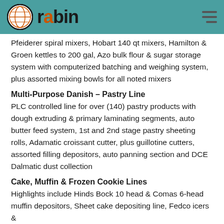rabin
Pfeiderer spiral mixers, Hobart 140 qt mixers, Hamilton & Groen kettles to 200 gal, Azo bulk flour & sugar storage system with computerized batching and weighing system, plus assorted mixing bowls for all noted mixers
Multi-Purpose Danish – Pastry Line
PLC controlled line for over (140) pastry products with dough extruding & primary laminating segments, auto butter feed system, 1st and 2nd stage pastry sheeting rolls, Adamatic croissant cutter, plus guillotine cutters, assorted filling depositors, auto panning section and DCE Dalmatic dust collection
Cake, Muffin & Frozen Cookie Lines
Highlights include Hinds Bock 10 head & Comas 6-head muffin depositors, Sheet cake depositing line, Fedco icers &